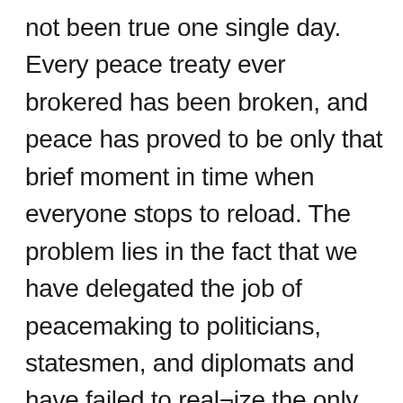not been true one single day. Every peace treaty ever brokered has been broken, and peace has proved to be only that brief moment in time when everyone stops to reload. The problem lies in the fact that we have delegated the job of peacemaking to politicians, statesmen, and diplomats and have failed to real¬ize the only real peace the world will ever know will result when God rules in the hearts of people, a rule that only we as God’s children are called upon and privileged to promote in our world. Our ultimate calling is a calling to be peacemakers. In the words of Dietrich Bonhoeffer, “The followers